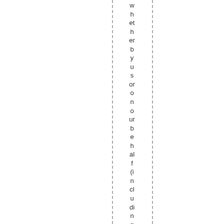whether by us or on our behalf (including frees of